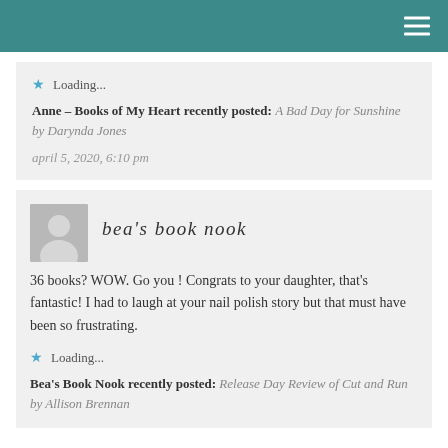Loading...
Anne – Books of My Heart recently posted: A Bad Day for Sunshine by Darynda Jones
april 5, 2020, 6:10 pm
bea's book nook
36 books? WOW. Go you! Congrats to your daughter, that's fantastic! I had to laugh at your nail polish story but that must have been so frustrating.
Loading...
Bea's Book Nook recently posted: Release Day Review of Cut and Run by Allison Brennan